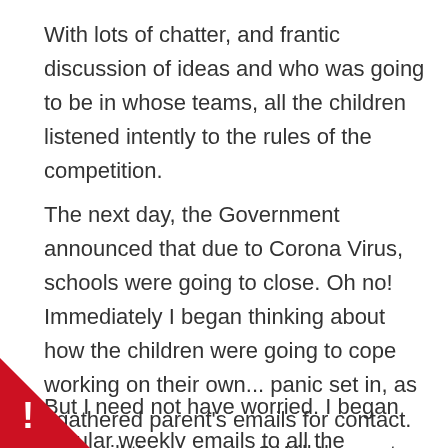With lots of chatter, and frantic discussion of ideas and who was going to be in whose teams, all the children listened intently to the rules of the competition.
The next day, the Government announced that due to Corona Virus, schools were going to close. Oh no! Immediately I began thinking about how the children were going to cope working on their own... panic set in, as I gathered parent's emails for contact. How will they manage? Will they get enough time to even use a computer? All these questions flew round my head. I felt like a Mother Hen!
But I need not have worried. I began regular weekly emails to all the children who were entered into the competition. Offer...